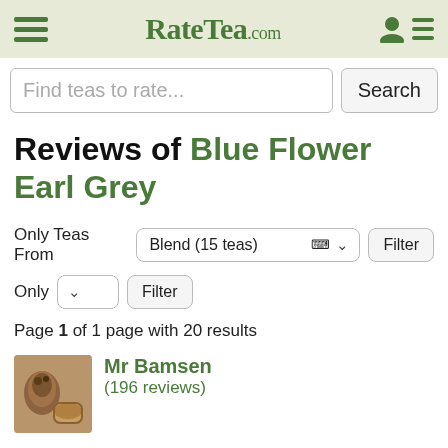RateTea.com
Find teas to rate...
Reviews of Blue Flower Earl Grey
Only Teas From Blend (15 teas) Filter
Only Filter
Page 1 of 1 page with 20 results
Mr Bamsen (196 reviews)